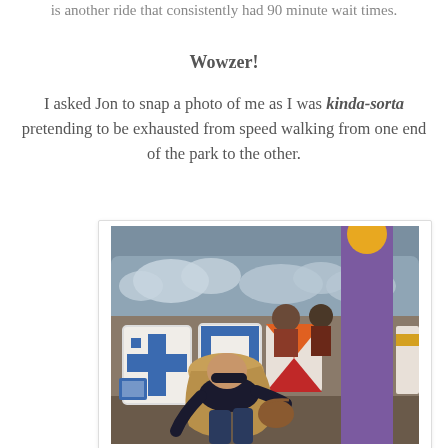is another ride that consistently had 90 minute wait times.
Wowzer!
I asked Jon to snap a photo of me as I was kinda-sorta pretending to be exhausted from speed walking from one end of the park to the other.
[Figure (photo): A woman with long highlighted hair wearing sunglasses and a black top, bent forward in a playful exhausted pose in front of colorful decorative shields and a large purple column at a theme park.]